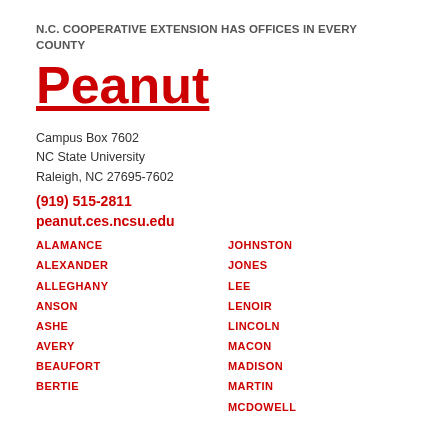N.C. COOPERATIVE EXTENSION HAS OFFICES IN EVERY COUNTY
Peanut
Campus Box 7602
NC State University
Raleigh, NC 27695-7602
(919) 515-2811
peanut.ces.ncsu.edu
ALAMANCE
ALEXANDER
ALLEGHANY
ANSON
ASHE
AVERY
BEAUFORT
BERTIE
JOHNSTON
JONES
LEE
LENOIR
LINCOLN
MACON
MADISON
MARTIN
MCDOWELL